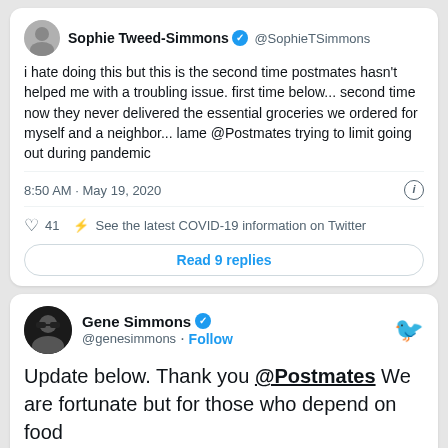[Figure (screenshot): Tweet by Sophie Tweed-Simmons (@SophieTSimmons) with verified badge. Tweet text: 'i hate doing this but this is the second time postmates hasn't helped me with a troubling issue. first time below... second time now they never delivered the essential groceries we ordered for myself and a neighbor... lame @Postmates trying to limit going out during pandemic'. Timestamp: 8:50 AM · May 19, 2020. 41 likes. 'See the latest COVID-19 information on Twitter'. Button: 'Read 9 replies'.]
[Figure (screenshot): Tweet by Gene Simmons (@genesimmons) with verified badge and Follow button. Tweet text begins: 'Update below. Thank you @Postmates We are fortunate but for those who depend on food [delivery] serv[ices]... [nig]... sto[p]...'. Partially covered by an advertisement banner for BitLife: Real Choices.]